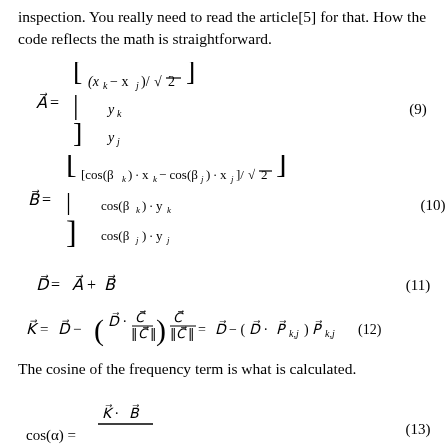inspection. You really need to read the article[5] for that. How the code reflects the math is straightforward.
The cosine of the frequency term is what is calculated.